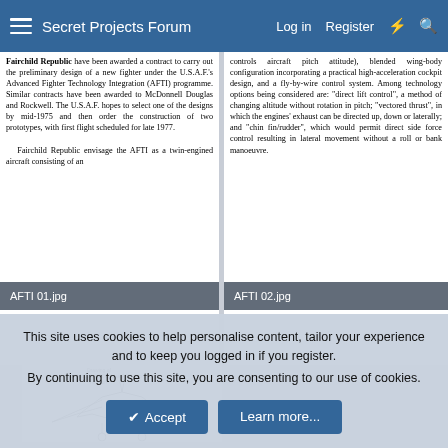Secret Projects Forum   Log in   Register
Fairchild Republic have been awarded a contract to carry out the preliminary design of a new fighter under the U.S.A.F.'s Advanced Fighter Technology Integration (AFTI) programme. Similar contracts have been awarded to McDonnell Douglas and Rockwell. The U.S.A.F. hopes to select one of the designs by mid-1975 and then order the construction of two prototypes, with first flight scheduled for late 1977.

Fairchild Republic envisage the AFTI as a twin-engined aircraft consisting of an...
...controls aircraft pitch attitude), blended wing-body configuration incorporating a practical high-acceleration cockpit design, and a fly-by-wire control system. Among technology options being considered are: "direct lift control", a method of changing altitude without rotation in pitch; "vectored thrust", in which the engines' exhaust can be directed up, down or laterally; and "chin fin/rudder", which would permit direct side force control resulting in lateral movement without a roll or bank manoeuvre.
AFTI 01.jpg
AFTI 02.jpg
[Figure (illustration): Drawing of McDonnell Douglas AFTI aircraft design showing top-down and side view technical illustration]
This site uses cookies to help personalise content, tailor your experience and to keep you logged in if you register.
By continuing to use this site, you are consenting to our use of cookies.